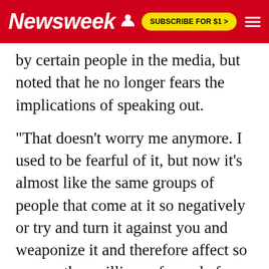Newsweek | SUBSCRIBE FOR $1 >
by certain people in the media, but noted that he no longer fears the implications of speaking out.
"That doesn't worry me anymore. I used to be fearful of it, but now it's almost like the same groups of people that come at it so negatively or try and turn it against you and weaponize it and therefore affect so many other millions of people from doing so actually encourages me to speak out more," he said.